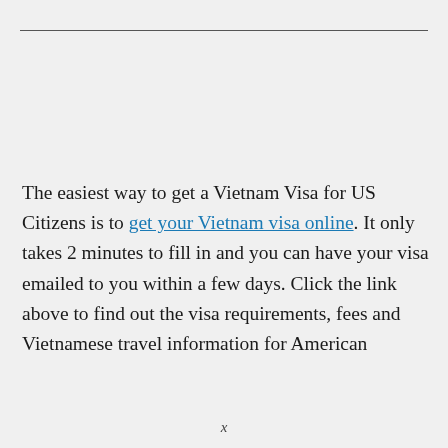The easiest way to get a Vietnam Visa for US Citizens is to get your Vietnam visa online. It only takes 2 minutes to fill in and you can have your visa emailed to you within a few days. Click the link above to find out the visa requirements, fees and Vietnamese travel information for American
x